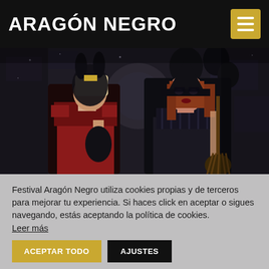ARAGÓN NEGRO
[Figure (photo): Two women in Halloween costumes against a dark background with black balloons. One dressed in red with a black rabbit mask, the other in a black witch hat holding a broom.]
Festival Aragón Negro utiliza cookies propias y de terceros para mejorar tu experiencia. Si haces click en aceptar o sigues navegando, estás aceptando la política de cookies.
Leer más
ACEPTAR TODO
AJUSTES